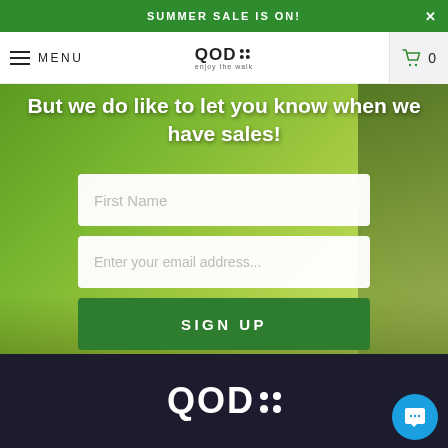SUMMER SALE IS ON!
[Figure (screenshot): Navigation bar with hamburger menu, MENU text, QOD logo with 'enjoy the walk' tagline, and cart icon with 0 items]
But we do like to let you know when we have sales!
First Name
Enter your email address...
SIGN UP
[Figure (logo): QOD logo in white with four white dots arranged in 2x2 grid on dark background]
[Figure (other): Blue circular chat button with speech bubble icon in bottom right corner]